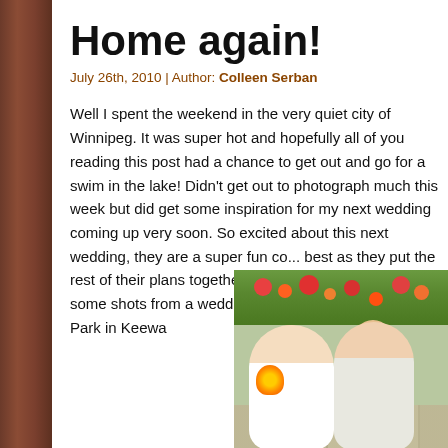Home again!
July 26th, 2010 | Author: Colleen Serban
Well I spent the weekend in the very quiet city of Winnipeg. It was super hot and hopefully all of you reading this post had a chance to get out and go for a swim in the lake!  Didn't get out to photograph much this week but did get some inspiration for my next wedding coming up very soon. So excited about this next wedding, they are a super fun couple and wish them all the best as they put the rest of their plans together. Before I digress, here are some shots from a wedding I photographed in Beaty Park in Keewa
[Figure (photo): Wedding photo of a bride and groom smiling together outdoors at Beaty Park, with colorful flowers in the background and a stone wall]